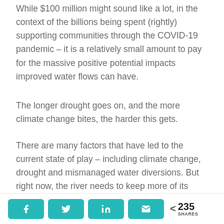While $100 million might sound like a lot, in the context of the billions being spent (rightly) supporting communities through the COVID-19 pandemic – it is a relatively small amount to pay for the massive positive potential impacts improved water flows can have.
The longer drought goes on, and the more climate change bites, the harder this gets.
There are many factors that have led to the current state of play – including climate change, drought and mismanaged water diversions. But right now, the river needs to keep more of its water to bring much needed prosperity back to river communities.
The Murray-Darling river system is the lifeblood of this
Social share buttons: Facebook, Twitter, LinkedIn, Email | 235 SHARES